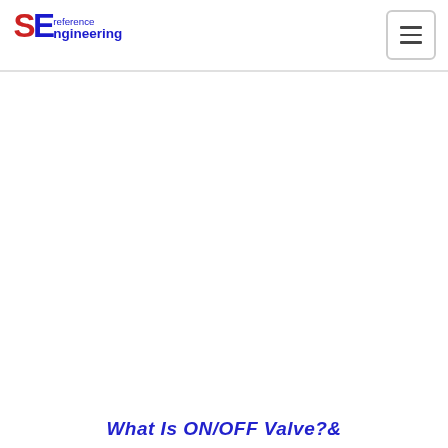SE reference Engineering [logo] [menu button]
What Is ON/OFF Valve?&